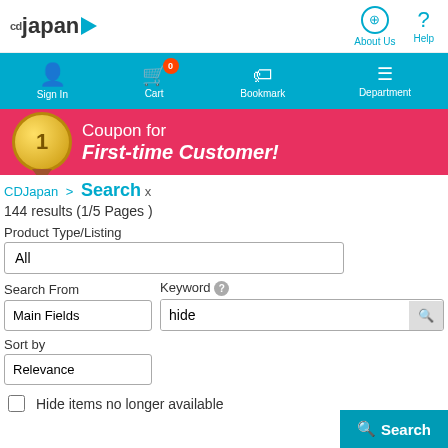[Figure (screenshot): CDJapan website header with logo, About Us and Help links]
[Figure (screenshot): Navigation bar with Sign In, Cart (0), Bookmark, Department]
[Figure (screenshot): Promotional banner: Coupon for First-time Customer!]
CDJapan > Search x
144 results (1/5 Pages )
Product Type/Listing
All
Search From
Keyword
Main Fields
hide
Sort by
Relevance
Hide items no longer available